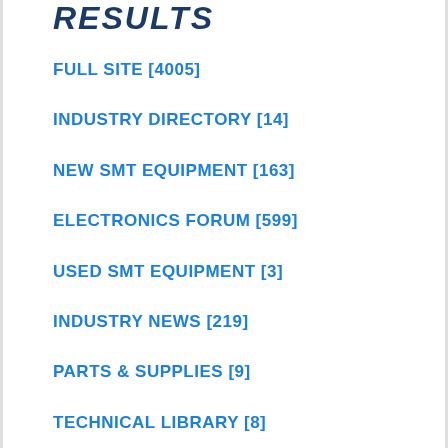RESULTS
FULL SITE [4005]
INDUSTRY DIRECTORY [14]
NEW SMT EQUIPMENT [163]
ELECTRONICS FORUM [599]
USED SMT EQUIPMENT [3]
INDUSTRY NEWS [219]
PARTS & SUPPLIES [9]
TECHNICAL LIBRARY [8]
VIDEOS [23]
TRAINING COURSES [8]